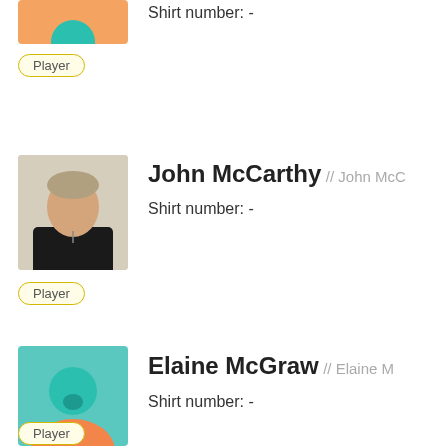[Figure (illustration): Generic player avatar icon - orange shirt with teal elements (top, partially visible)]
Shirt number: -
Player
[Figure (photo): Photo of John McCarthy - man with grey/blonde hair wearing black shirt]
John McCarthy // John McC
Shirt number: -
Player
[Figure (illustration): Generic player avatar icon - teal head with orange shirt]
Elaine McGraw // Elaine M
Shirt number: -
Player
[Figure (illustration): Generic player avatar icon - partially visible at bottom]